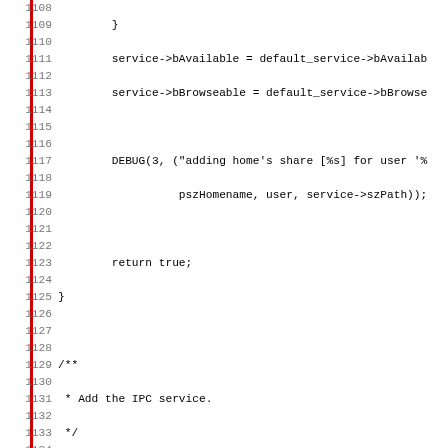Source code listing lines 1108-1139, showing C code for lp_add_hidden function